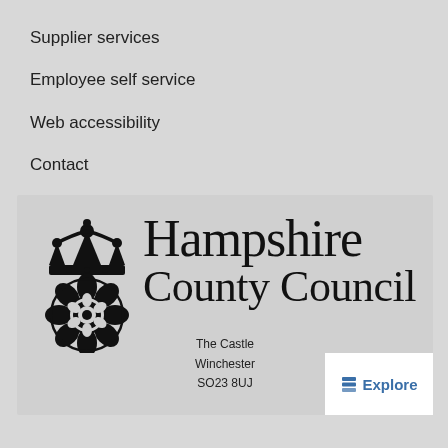Supplier services
Employee self service
Web accessibility
Contact
[Figure (logo): Hampshire County Council logo with Tudor rose crest and serif text reading 'Hampshire County Council'. Below the logo: The Castle, Winchester, SO23 8UJ]
The Castle
Winchester
SO23 8UJ
Explore